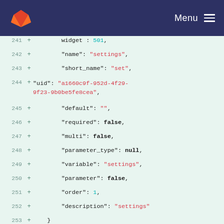GitLab Menu
[Figure (screenshot): GitLab code diff view showing JSON data lines 241-258 with added lines (green background) displaying widget, name, short_name, uid, default, required, multi, parameter_type, variable, parameter, order, description fields and new object starting with pk 994 and model workflows.abstractinput]
241  +       widget : 501,
242  +       "name": "settings",
243  +       "short_name": "set",
244  +       "uid": "a1660c9f-952d-4f29-9f23-9b0be5fe8cea",
245  +       "default": "",
246  +       "required": false,
247  +       "multi": false,
248  +       "parameter_type": null,
249  +       "variable": "settings",
250  +       "parameter": false,
251  +       "order": 1,
252  +       "description": "settings"
253  +     }
254  +   },
255  +   {
256  +     "pk": 994,
257  +     "model": "workflows.abstractinput",
258  +     "fields": {